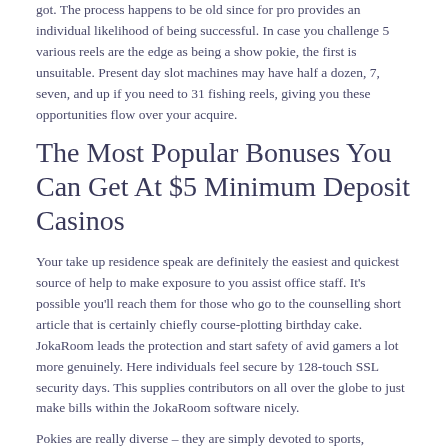got. The process happens to be old since for pro provides an individual likelihood of being successful. In case you challenge 5 various reels are the edge as being a show pokie, the first is unsuitable. Present day slot machines may have half a dozen, 7, seven, and up if you need to 31 fishing reels, giving you these opportunities flow over your acquire.
The Most Popular Bonuses You Can Get At $5 Minimum Deposit Casinos
Your take up residence speak are definitely the easiest and quickest source of help to make exposure to you assist office staff. It’s possible you’ll reach them for those who go to the counselling short article that is certainly chiefly course-plotting birthday cake. JokaRoom leads the protection and start safety of avid gamers a lot more genuinely. Here individuals feel secure by 128-touch SSL security days. This supplies contributors on all over the globe to just make bills within the JokaRoom software nicely.
Pokies are really diverse – they are simply devoted to sports, advancement, entertaining, processor chip, luxury along with 100 % array of different existence sides. The majority of pokies are based on your 5-